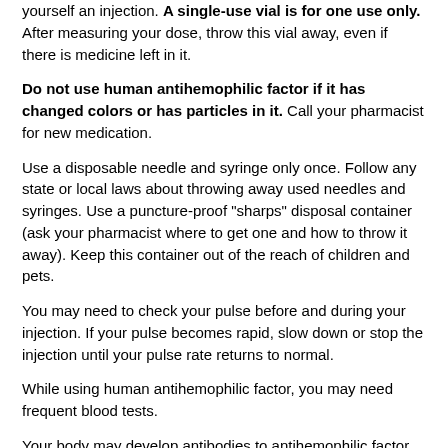yourself an injection. A single-use vial is for one use only. After measuring your dose, throw this vial away, even if there is medicine left in it.
Do not use human antihemophilic factor if it has changed colors or has particles in it. Call your pharmacist for new medication.
Use a disposable needle and syringe only once. Follow any state or local laws about throwing away used needles and syringes. Use a puncture-proof "sharps" disposal container (ask your pharmacist where to get one and how to throw it away). Keep this container out of the reach of children and pets.
You may need to check your pulse before and during your injection. If your pulse becomes rapid, slow down or stop the injection until your pulse rate returns to normal.
While using human antihemophilic factor, you may need frequent blood tests.
Your body may develop antibodies to antihemophilic factor, making it less effective. Call your doctor if this medicine seems to be